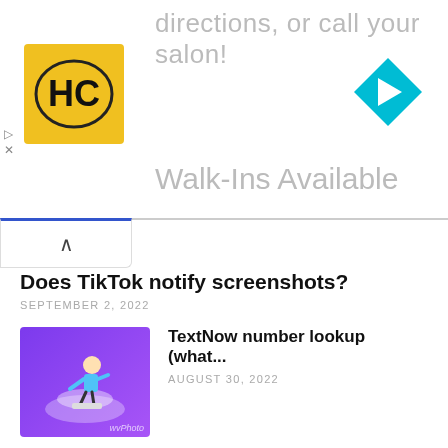[Figure (screenshot): Advertisement banner with HC logo, directions/salon text, Walk-Ins Available text, and blue navigation arrow icon]
Does TikTok notify screenshots?
SEPTEMBER 2, 2022
[Figure (illustration): Purple gradient thumbnail with person on skateboard illustration, WVPhoto watermark]
TextNow number lookup (what...
AUGUST 30, 2022
[Figure (illustration): Purple gradient thumbnail with person at computer screen and gears illustration, WVPhoto watermark]
How to watch TikTok without a...
AUGUST 29, 2022